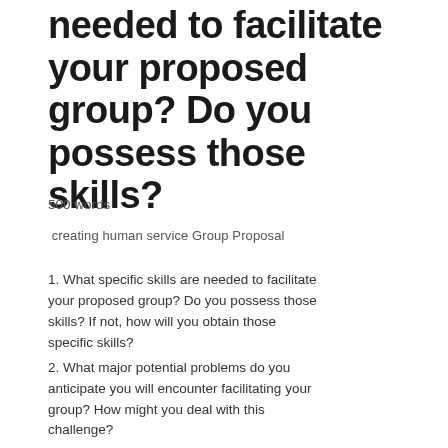needed to facilitate your proposed group? Do you possess those skills?
500 words
creating human service Group Proposal
1. What specific skills are needed to facilitate your proposed group?  Do you possess those skills?  If not, how will you obtain those specific skills?
2. What major potential problems do you anticipate you will encounter facilitating your group?  How might you deal with this challenge?
3. What are some ways to combine research